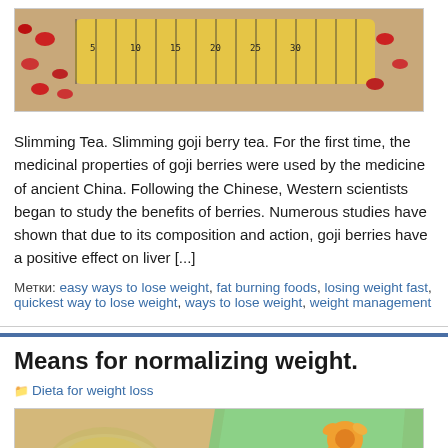[Figure (photo): A measuring tape coiled on a surface with red goji berries scattered around, on a wooden background.]
Slimming Tea. Slimming goji berry tea. For the first time, the medicinal properties of goji berries were used by the medicine of ancient China. Following the Chinese, Western scientists began to study the benefits of berries. Numerous studies have shown that due to its composition and action, goji berries have a positive effect on liver [...]
Метки: easy ways to lose weight, fat burning foods, losing weight fast, quickest way to lose weight, ways to lose weight, weight management
Means for normalizing weight.
Dieta for weight loss
[Figure (photo): A cup of herbal tea with green napkin and orange flower, with seeds scattered on the surface.]